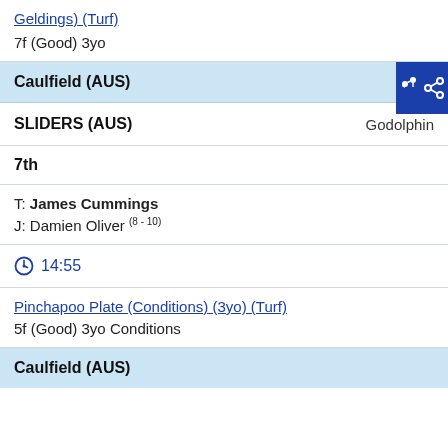Geldings) (Turf)
7f (Good) 3yo
Caulfield (AUS)
SLIDERS (AUS)   Godolphin
7th
T: James Cummings
J: Damien Oliver (8 - 10)
14:55
Pinchapoo Plate (Conditions) (3yo) (Turf)
5f (Good) 3yo Conditions
Caulfield (AUS)